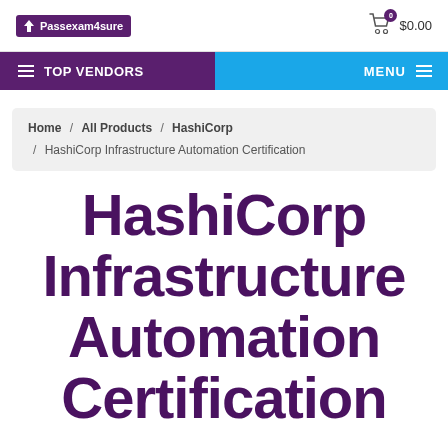Passexam4sure | $0.00
TOP VENDORS | MENU
Home / All Products / HashiCorp / HashiCorp Infrastructure Automation Certification
HashiCorp Infrastructure Automation Certification